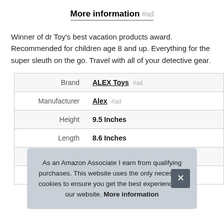More information #ad
Winner of dr Toy's best vacation products award. Recommended for children age 8 and up. Everything for the super sleuth on the go. Travel with all of your detective gear.
|  |  |
| --- | --- |
| Brand | ALEX Toys #ad |
| Manufacturer | Alex #ad |
| Height | 9.5 Inches |
| Length | 8.6 Inches |
| P |  |
| Model | 400 |
As an Amazon Associate I earn from qualifying purchases. This website uses the only necessary cookies to ensure you get the best experience on our website. More information